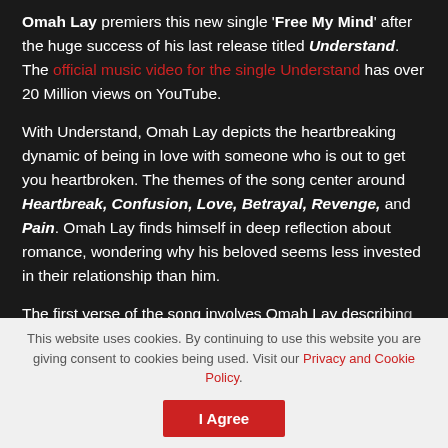Omah Lay premiers this new single 'Free My Mind' after the huge success of his last release titled Understand. The official music video for the single Understand has over 20 Million views on YouTube.
With Understand, Omah Lay depicts the heartbreaking dynamic of being in love with someone who is out to get you heartbroken. The themes of the song center around Heartbreak, Confusion, Love, Betrayal, Revenge, and Pain. Omah Lay finds himself in deep reflection about romance, wondering why his beloved seems less invested in their relationship than him.
The first verse of the song involves Omah Lay describing
This website uses cookies. By continuing to use this website you are giving consent to cookies being used. Visit our Privacy and Cookie Policy.